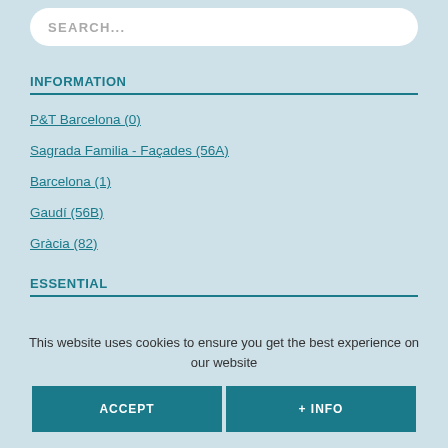SEARCH...
INFORMATION
P&T Barcelona (0)
Sagrada Familia - Façades (56A)
Barcelona (1)
Gaudí (56B)
Gràcia (82)
ESSENTIAL
Agbar Tower (99)
This website uses cookies to ensure you get the best experience on our website
ACCEPT
+ INFO